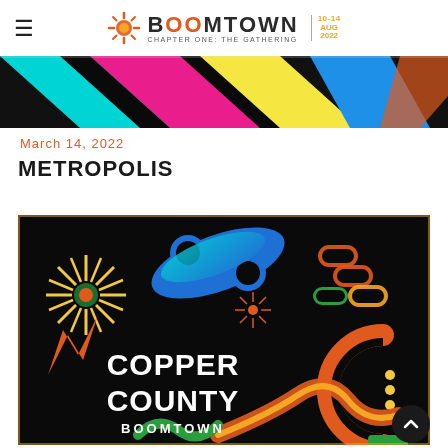BOOMTOWN | CHAPTER ONE: THE GATHERING | 10-14 AUG 2022
[Figure (illustration): Colorful graphic banner with neon geometric shapes on dark background — cyan, magenta, yellow diagonal stripes and shapes]
March 14, 2022
METROPOLIS
[Figure (illustration): Copper County promotional artwork: colorful illustrated graphic on black background featuring blue, orange, green abstract shapes, a wheel, chains, and fireworks. White text reads 'COPPER COUNTY' with 'BOOMTOWN' below it.]